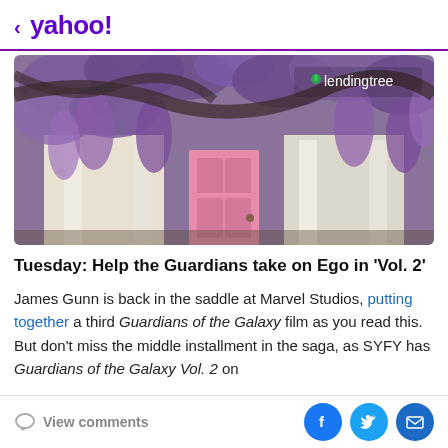< yahoo!
[Figure (photo): Photograph of a white house with a pink front door, framed by cascading purple wisteria flowers. A 'lendingtree' logo appears in the top right corner of the image.]
Tuesday: Help the Guardians take on Ego in 'Vol. 2'
James Gunn is back in the saddle at Marvel Studios, putting together a third Guardians of the Galaxy film as you read this. But don't miss the middle installment in the saga, as SYFY has Guardians of the Galaxy Vol. 2 on
View comments